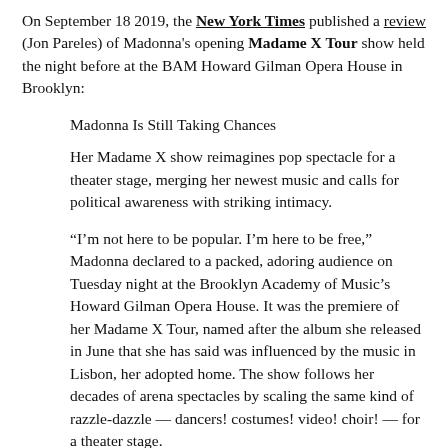On September 18 2019, the New York Times published a review (Jon Pareles) of Madonna's opening Madame X Tour show held the night before at the BAM Howard Gilman Opera House in Brooklyn:
Madonna Is Still Taking Chances
Her Madame X show reimagines pop spectacle for a theater stage, merging her newest music and calls for political awareness with striking intimacy.
“I’m not here to be popular. I’m here to be free,” Madonna declared to a packed, adoring audience on Tuesday night at the Brooklyn Academy of Music’s Howard Gilman Opera House. It was the premiere of her Madame X Tour, named after the album she released in June that she has said was influenced by the music in Lisbon, her adopted home. The show follows her decades of arena spectacles by scaling the same kind of razzle-dazzle — dancers! costumes! video! choir! — for a theater stage.